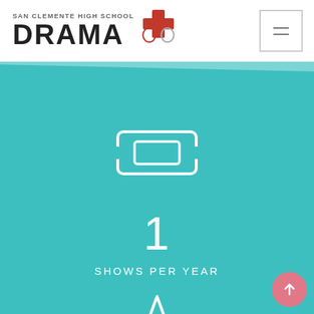SAN CLEMENTE HIGH SCHOOL DRAMA
[Figure (infographic): Teal background infographic with ticket icon, showing '1 SHOWS PER YEAR' and a star icon with partial number '3/' below]
1
SHOWS PER YEAR